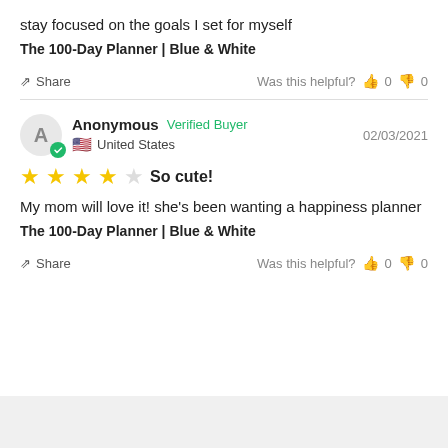stay focused on the goals I set for myself
The 100-Day Planner | Blue & White
Share   Was this helpful?  👍 0  👎 0
Anonymous  Verified Buyer  02/03/2021
United States
★★★★☆ So cute!
My mom will love it! she's been wanting a happiness planner
The 100-Day Planner | Blue & White
Share   Was this helpful?  👍 0  👎 0